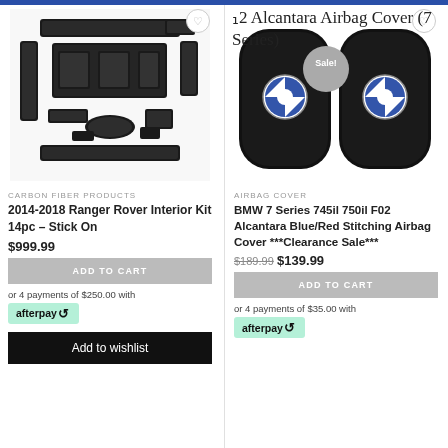[Figure (photo): Carbon fiber interior trim pieces for 2014-2018 Range Rover, 14pc kit, shown as individual black carbon fiber panels on white background]
CARBON FIBER PRODUCTS
2014-2018 Ranger Rover Interior Kit 14pc – Stick On
$999.99
ADD TO CART
or 4 payments of $250.00 with
afterpay
Add to wishlist
2 Alcantara Airbag Cover (7 Series)
[Figure (photo): Two black BMW airbag covers with BMW roundel logo, made of Alcantara material, Sale badge overlay]
AIRBAG COVER
BMW 7 Series 745il 750il F02 Alcantara Blue/Red Stitching Airbag Cover ***Clearance Sale***
$189.99  $139.99
ADD TO CART
or 4 payments of $35.00 with
afterpay